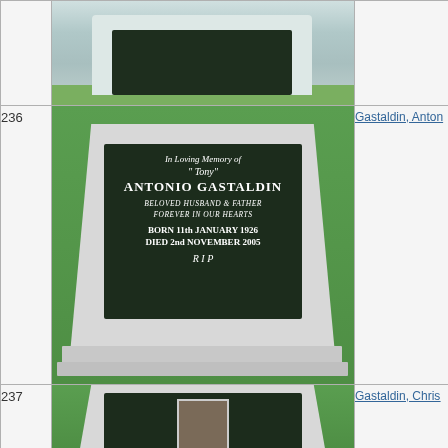[Figure (photo): Partial view of a headstone with teal/grey background, top portion only visible]
236
[Figure (photo): Headstone for Antonio Gastaldin reading: In Loving Memory of Tony ANTONIO GASTALDIN BELOVED HUSBAND & FATHER FOREVER IN OUR HEARTS BORN 11th JANUARY 1926 DIED 2nd NOVEMBER 2005 R.I.P]
Gastaldin, Anton
237
[Figure (photo): Partial view of headstone for Gastaldin, Christine, showing top of stone with photo portrait and partial text Loving Memory and REST SON & D]
Gastaldin, Chris